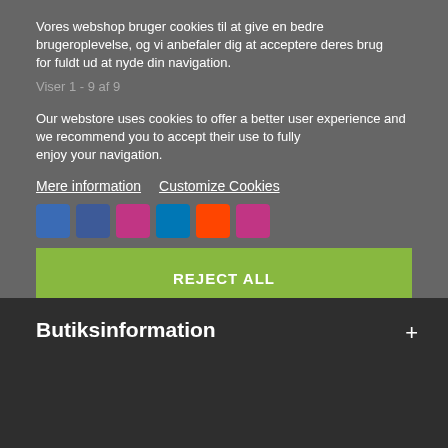Vores webshop bruger cookies til at give en bedre brugeroplevelse, og vi anbefaler dig at acceptere deres brug for fuldt ud at nyde din navigation.
Viser 1 - 9 af 9
Our webstore uses cookies to offer a better user experience and we recommend you to accept their use to fully enjoy your navigation.
Mere information   Customize Cookies
REJECT ALL
JEG ACCEPTERER
Butiksinformation